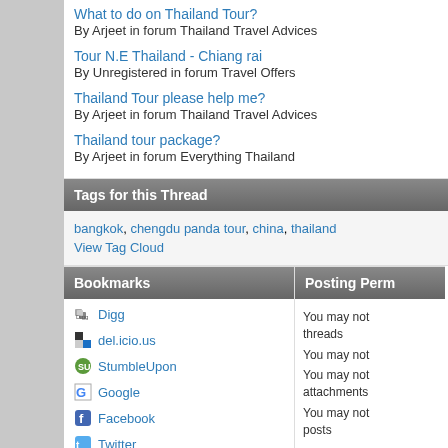What to do on Thailand Tour?
By Arjeet in forum Thailand Travel Advices
Tour N.E Thailand - Chiang rai
By Unregistered in forum Travel Offers
Thailand Tour please help me?
By Arjeet in forum Thailand Travel Advices
Thailand tour package?
By Arjeet in forum Everything Thailand
Tags for this Thread
bangkok, chengdu panda tour, china, thailand
View Tag Cloud
Bookmarks
Digg
del.icio.us
StumbleUpon
Google
Facebook
Twitter
LinkedIn
Posting Perm
You may not threads
You may not
You may not attachments
You may not posts